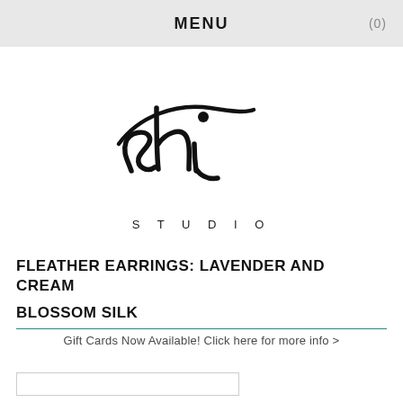MENU (0)
[Figure (logo): Shi Studio handwritten script logo with 'shi' in cursive and 'STUDIO' in spaced caps below]
FLEATHER EARRINGS: LAVENDER AND CREAM BLOSSOM SILK
Gift Cards Now Available! Click here for more info >